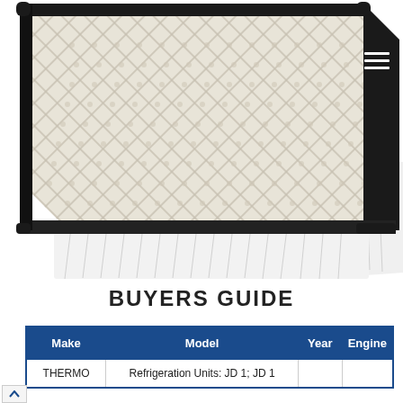[Figure (photo): A flat panel air filter with black plastic frame and white pleated filter media with diamond-pattern mesh overlay, shown at an angle on white background]
BUYERS GUIDE
| Make | Model | Year | Engine |
| --- | --- | --- | --- |
| THERMO | Refrigeration Units: JD 1; JD 1 |  |  |